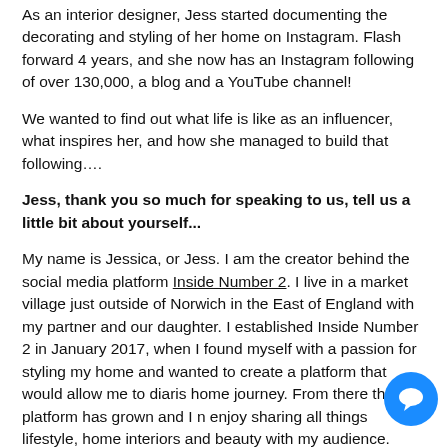As an interior designer, Jess started documenting the decorating and styling of her home on Instagram. Flash forward 4 years, and she now has an Instagram following of over 130,000, a blog and a YouTube channel!
We wanted to find out what life is like as an influencer, what inspires her, and how she managed to build that following….
Jess, thank you so much for speaking to us, tell us a little bit about yourself...
My name is Jessica, or Jess. I am the creator behind the social media platform Inside Number 2. I live in a market village just outside of Norwich in the East of England with my partner and our daughter. I established Inside Number 2 in January 2017, when I found myself with a passion for styling my home and wanted to create a platform that would allow me to diaris home journey. From there the platform has grown and I n enjoy sharing all things lifestyle, home interiors and beauty with my audience.